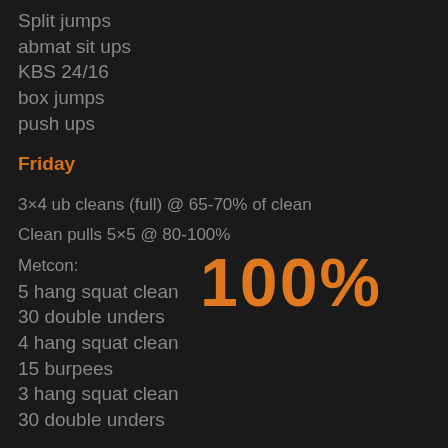Split jumps
abmat sit ups
KBS 24/16
box jumps
push ups
Friday
3×4 ub cleans (full) @ 65-70% of clean
Clean pulls 5×5 @ 80-100%
[Figure (infographic): Large orange text overlay showing '100%']
Metcon:
5 hang squat clean
30 double unders
4 hang squat clean
15 burpees
3 hang squat clean
30 double unders